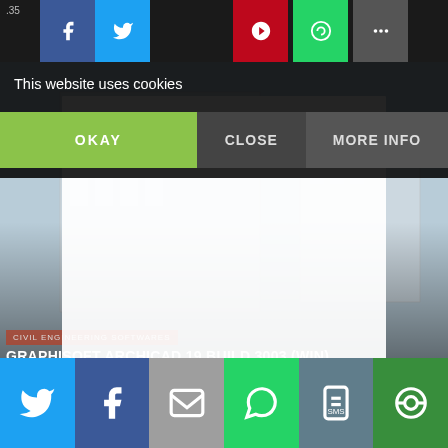[Figure (screenshot): Website screenshot showing a cookie consent overlay with OKAY, CLOSE, and MORE INFO buttons over a dark background with a building image and article about GRAPHISOFT ARCHICAD 19 BUILD 3003]
This website uses cookies
OKAY
CLOSE
MORE INFO
CIVIL ENGINEERING SOFTWARES
GRAPHISOFT ARCHICAD 19 BUILD 3003 (WIN)
CIVIL ENGINEERING SOFTWARES